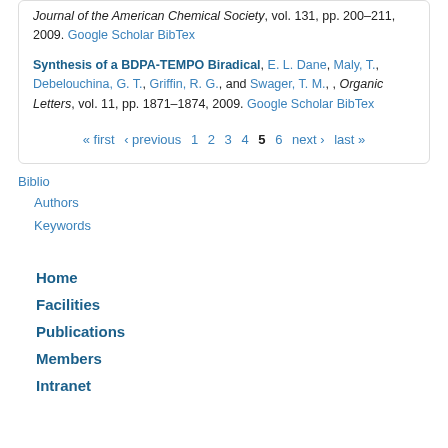Journal of the American Chemical Society, vol. 131, pp. 200–211, 2009. Google Scholar BibTex
Synthesis of a BDPA-TEMPO Biradical, E. L. Dane, Maly, T., Debelouchina, G. T., Griffin, R. G., and Swager, T. M., , Organic Letters, vol. 11, pp. 1871–1874, 2009. Google Scholar BibTex
« first ‹ previous 1 2 3 4 5 6 next › last »
Biblio
Authors
Keywords
Home
Facilities
Publications
Members
Intranet